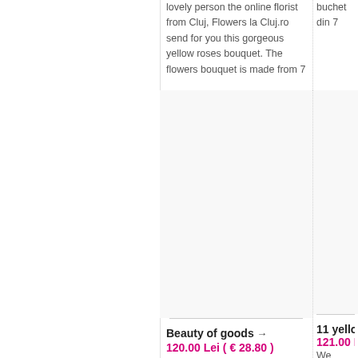lovely person the online florist from Cluj, Flowers la Cluj.ro send for you this gorgeous yellow roses bouquet. The flowers bouquet is made from 7
buchet din 7
Beauty of goods →
120.00 Lei ( € 28.80 )
The beauty of goods changed in 7 pink roses .
11 yellow t
121.00 Lei €
We created th yellow tulips . offered when your feelings choose some